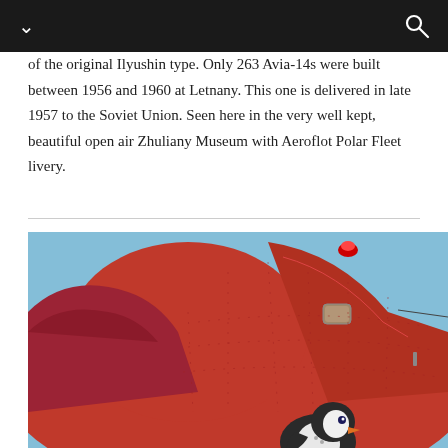of the original Ilyushin type. Only 263 Avia-14s were built between 1956 and 1960 at Letnany. This one is delivered in late 1957 to the Soviet Union. Seen here in the very well kept, beautiful open air Zhuliany Museum with Aeroflot Polar Fleet livery.
[Figure (photo): Close-up photograph of the tail section of a red Avia-14 aircraft in Aeroflot Polar Fleet livery, showing a penguin mascot painted on the fuselage, against a blue sky background.]